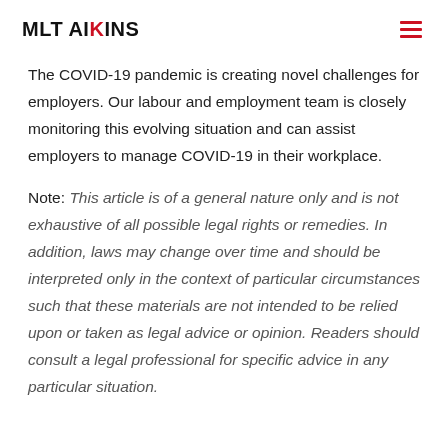MLT AIKINS
The COVID-19 pandemic is creating novel challenges for employers. Our labour and employment team is closely monitoring this evolving situation and can assist employers to manage COVID-19 in their workplace.
Note: This article is of a general nature only and is not exhaustive of all possible legal rights or remedies. In addition, laws may change over time and should be interpreted only in the context of particular circumstances such that these materials are not intended to be relied upon or taken as legal advice or opinion. Readers should consult a legal professional for specific advice in any particular situation.